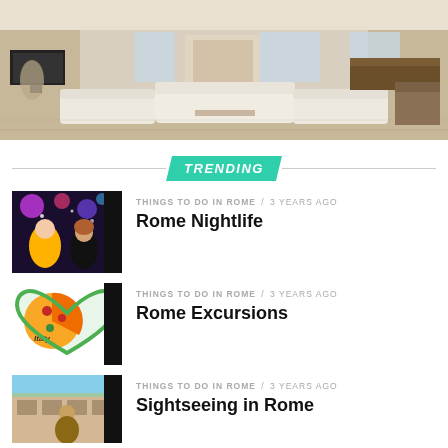[Figure (photo): Interior of an elegant living room with white sofas, wooden floors, TV, and a piano]
TRENDING
[Figure (photo): Two women partying at a nightclub]
THINGS TO DO IN ROME / 3 years ago
Rome Nightlife
[Figure (photo): Heart-shaped Italy pizza illustration]
THINGS TO DO IN ROME / 3 years ago
Rome Excursions
[Figure (photo): Person sightseeing in Rome]
THINGS TO DO IN ROME / 3 years ago
Sightseeing in Rome